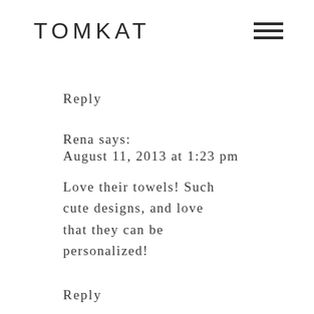TOMKAT
Reply
Rena says:
August 11, 2013 at 1:23 pm
Love their towels! Such cute designs, and love that they can be personalized!
Reply